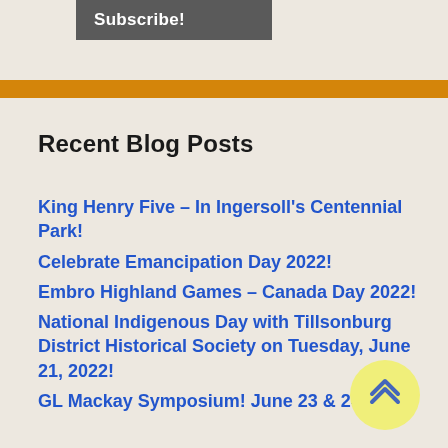[Figure (other): Subscribe button — dark grey rectangle with white text 'Subscribe!']
[Figure (other): Horizontal orange/amber decorative bar divider]
Recent Blog Posts
King Henry Five – In Ingersoll's Centennial Park!
Celebrate Emancipation Day 2022!
Embro Highland Games – Canada Day 2022!
National Indigenous Day with Tillsonburg District Historical Society on Tuesday, June 21, 2022!
GL Mackay Symposium! June 23 & 24, 2022!
[Figure (other): Scroll-to-top button — yellow circle with upward double chevron arrow icon]